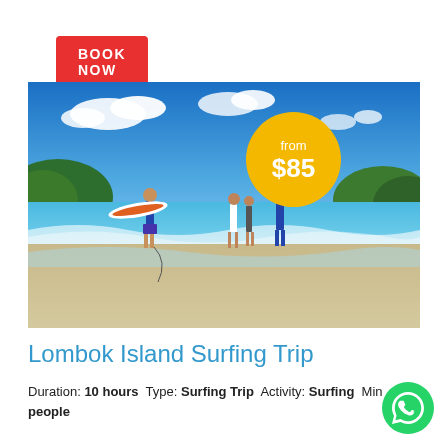BOOK NOW
[Figure (photo): Four surfers walking into the ocean on a tropical beach, one carrying a surfboard. Blue sky with white clouds and green hills in background. Price badge showing 'from $85' in yellow circle.]
Lombok Island Surfing Trip
Duration: 10 hours  Type: Surfing Trip  Activity: Surfing  Min...people